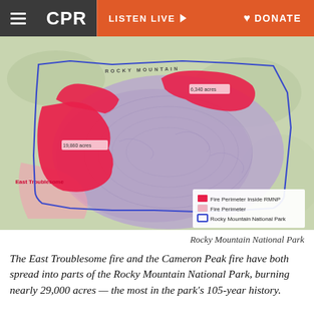CPR | LISTEN LIVE | DONATE
[Figure (map): Map of Rocky Mountain National Park showing fire perimeters for the East Troublesome fire and Cameron Peak fire. Red areas indicate Fire Perimeter Inside RMNP, pink areas indicate Fire Perimeter, and blue outline indicates Rocky Mountain National Park boundary. Labels show 'East Troublesome' on the left red area, and acreage labels on fire zones.]
Rocky Mountain National Park
The East Troublesome fire and the Cameron Peak fire have both spread into parts of the Rocky Mountain National Park, burning nearly 29,000 acres — the most in the park's 105-year history.